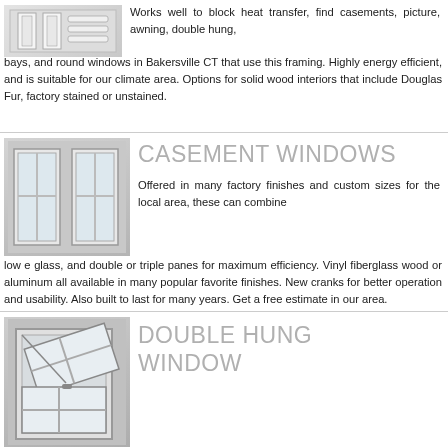Works well to block heat transfer, find casements, picture, awning, double hung, bays, and round windows in Bakersville CT that use this framing. Highly energy efficient, and is suitable for our climate area. Options for solid wood interiors that include Douglas Fur, factory stained or unstained.
[Figure (photo): Photo of window frame components - white trim pieces]
CASEMENT WINDOWS
[Figure (photo): Photo of two casement windows side by side]
Offered in many factory finishes and custom sizes for the local area, these can combine low e glass, and double or triple panes for maximum efficiency. Vinyl fiberglass wood or aluminum all available in many popular favorite finishes. New cranks for better operation and usability. Also built to last for many years. Get a free estimate in our area.
DOUBLE HUNG WINDOW
[Figure (photo): Photo of a double hung window open at an angle]